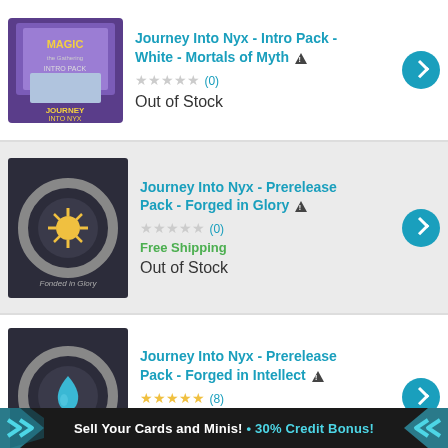[Figure (photo): Magic: The Gathering Journey Into Nyx Intro Pack - White product box]
Journey Into Nyx - Intro Pack - White - Mortals of Myth ⚠
★★★★★ (0)
Out of Stock
[Figure (photo): Journey Into Nyx Prerelease Pack - Forged in Glory product image showing gold sun medallion]
Journey Into Nyx - Prerelease Pack - Forged in Glory ⚠
★★★★★ (0)
Free Shipping
Out of Stock
[Figure (photo): Journey Into Nyx Prerelease Pack - Forged in Intellect product image showing blue water drop medallion]
Journey Into Nyx - Prerelease Pack - Forged in Intellect ⚠
★★★★★ (8)
Free Shipping
Out of Stock
Sell Your Cards and Minis! • 30% Credit Bonus!